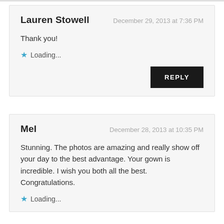Lauren Stowell
December 29, 2013 at 7:36 PM
Thank you!
Loading...
REPLY
Mel
December 28, 2013 at 10:35 PM
Stunning. The photos are amazing and really show off your day to the best advantage. Your gown is incredible. I wish you both all the best. Congratulations.
Loading...